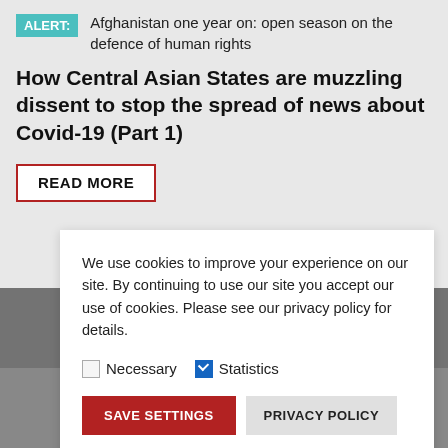ALERT: Afghanistan one year on: open season on the defence of human rights
How Central Asian States are muzzling dissent to stop the spread of news about Covid-19 (Part 1)
READ MORE
We use cookies to improve your experience on our site. By continuing to use our site you accept our use of cookies. Please see our privacy policy for details.
Necessary
Statistics
SAVE SETTINGS   PRIVACY POLICY
[Figure (photo): Background photo showing PART 2 text in red letters]